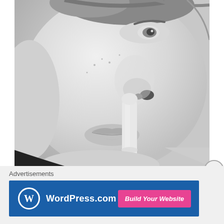[Figure (photo): Black and white close-up photograph of a person's face with a finger held vertically in front of their lips in a 'shh' or silence gesture. The person appears to be a young woman with freckles and light-colored eyes.]
Advertisements
[Figure (other): WordPress.com advertisement banner with blue background showing the WordPress logo (W in a circle) and 'WordPress.com' text on the left, and a pink 'Build Your Website' button on the right.]